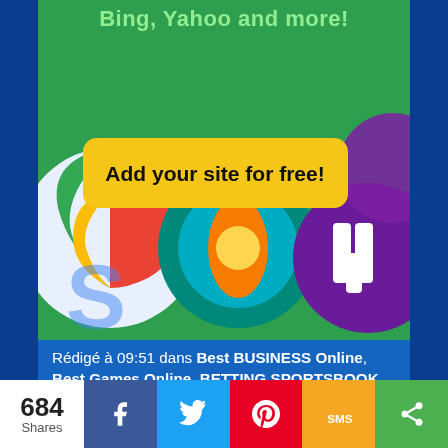[Figure (screenshot): Advertisement banner with colorful search engine logos (Google, Yahoo, Bing) and a yellow button reading 'Add your site for free!' on a green background with text 'Bing, Yahoo and more!']
Rédigé à 09:51 dans Best BUSINESS Online, Best Games Online, BETTING SPORTSBOOK, Business, Entertainement and Movies, Jeux, LIFESTYLE AND FUN, Sports, Web/Tech, Weblogs | 🔗 Lien permanent | 💬 Commentaires (0)
Balises: and PC.Experience the world's
684 Shares